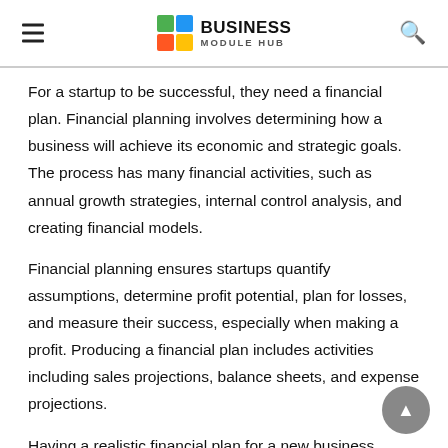Business Module Hub
For a startup to be successful, they need a financial plan. Financial planning involves determining how a business will achieve its economic and strategic goals. The process has many financial activities, such as annual growth strategies, internal control analysis, and creating financial models.
Financial planning ensures startups quantify assumptions, determine profit potential, plan for losses, and measure their success, especially when making a profit. Producing a financial plan includes activities including sales projections, balance sheets, and expense projections.
Having a realistic financial plan for a new business ensures it stays